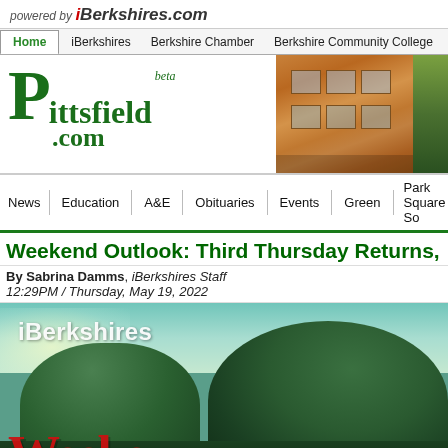powered by iBerkshires.com
Home | iBerkshires | Berkshire Chamber | Berkshire Community College | City of P...
[Figure (screenshot): Pittsfield.com logo with large green P and beta label, alongside a photo of a brick building]
News | Education | A&E | Obituaries | Events | Green | Park Square So...
Weekend Outlook: Third Thursday Returns,
By Sabrina Damms, iBerkshires Staff
12:29PM / Thursday, May 19, 2022
[Figure (photo): iBerkshires scenic photo with trees, sky, and Weekend text overlay in red serif font]